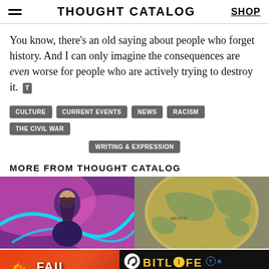THOUGHT CATALOG | SHOP
You know, there's an old saying about people who forget history. And I can only imagine the consequences are even worse for people who are actively trying to destroy it.
CULTURE
CURRENT EVENTS
NEWS
RACISM
THE CIVIL WAR
WRITING & EXPRESSION
MORE FROM THOUGHT CATALOG
[Figure (photo): Colorful illustrated portrait of a young woman with purple/pink psychedelic background]
[Figure (photo): Close-up photograph of a globe showing map details]
How Th... Comm... Instag...
350+ Histor... Tri... wers